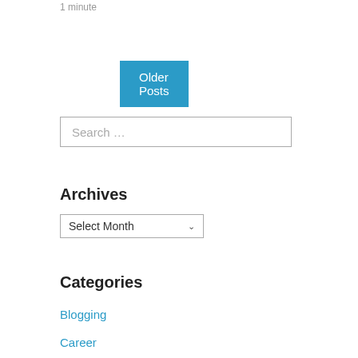1 minute
Older Posts
Search …
Archives
Select Month
Categories
Blogging
Career